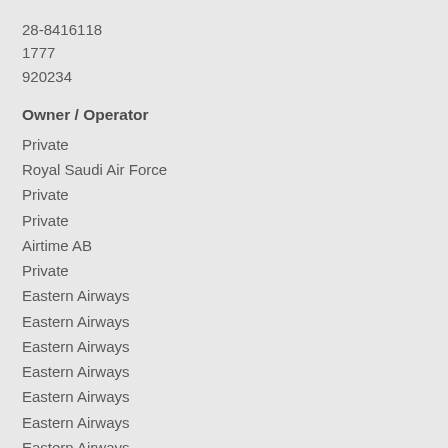28-8416118
1777
920234
Owner / Operator
Private
Royal Saudi Air Force
Private
Private
Airtime AB
Private
Eastern Airways
Eastern Airways
Eastern Airways
Eastern Airways
Eastern Airways
Eastern Airways
Eastern Airways